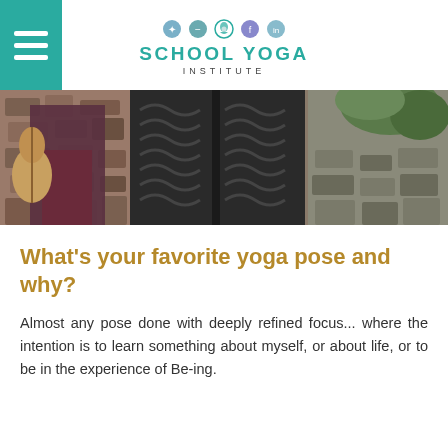[Figure (logo): School Yoga Institute logo with social media icons and hamburger menu]
[Figure (photo): Person holding a guitar standing in front of ornate dark iron gates with stone walls and greenery]
What's your favorite yoga pose and why?
Almost any pose done with deeply refined focus... where the intention is to learn something about myself, or about life, or to be in the experience of Be-ing.